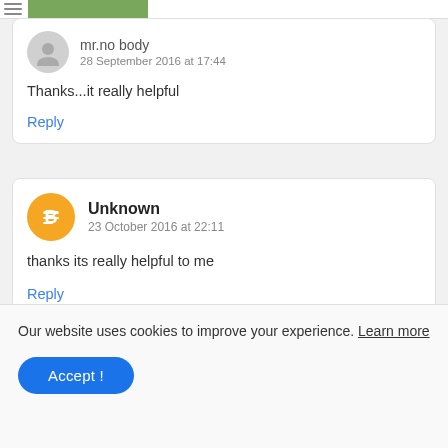[Figure (screenshot): Top navigation bar with menu icon and green banner image]
mr.no body
28 September 2016 at 17:44
Thanks...it really helpful
Reply
Unknown
23 October 2016 at 22:11
thanks its really helpful to me
Reply
Our website uses cookies to improve your experience. Learn more
Accept !